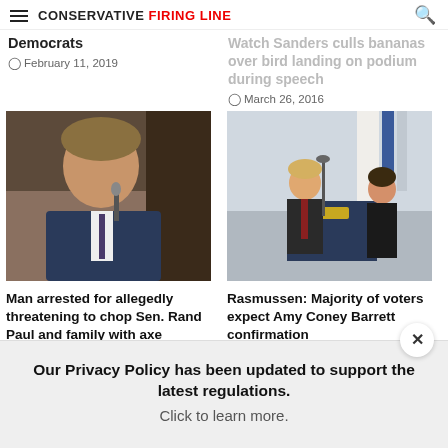Conservative Firing Line
Democrats
© February 11, 2019
Watch Sanders culls bananas over bird landing on podium during speech
© March 26, 2016
[Figure (photo): Man being interviewed at a microphone, wearing a blue suit]
[Figure (photo): Donald Trump and Amy Coney Barrett at a White House podium]
Man arrested for allegedly threatening to chop Sen. Rand Paul and family with axe
Rasmussen: Majority of voters expect Amy Coney Barrett confirmation
© September 28, 2020
Our Privacy Policy has been updated to support the latest regulations. Click to learn more.